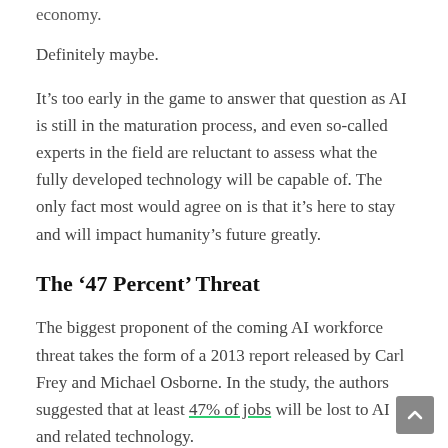economy.
Definitely maybe.
It’s too early in the game to answer that question as AI is still in the maturation process, and even so-called experts in the field are reluctant to assess what the fully developed technology will be capable of. The only fact most would agree on is that it’s here to stay and will impact humanity’s future greatly.
The ‘47 Percent’ Threat
The biggest proponent of the coming AI workforce threat takes the form of a 2013 report released by Carl Frey and Michael Osborne. In the study, the authors suggested that at least 47% of jobs will be lost to AI and related technology.